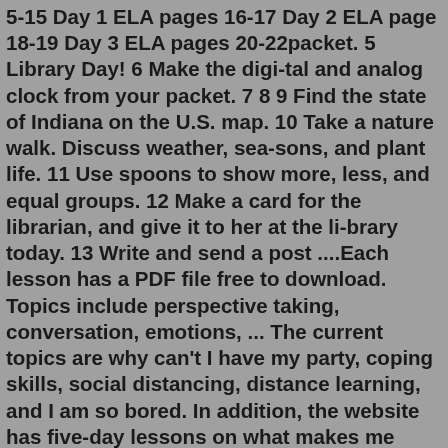5-15 Day 1 ELA pages 16-17 Day 2 ELA page 18-19 Day 3 ELA pages 20-22packet. 5 Library Day! 6 Make the digi-tal and analog clock from your packet. 7 8 9 Find the state of Indiana on the U.S. map. 10 Take a nature walk. Discuss weather, sea-sons, and plant life. 11 Use spoons to show more, less, and equal groups. 12 Make a card for the librarian, and give it to her at the li-brary today. 13 Write and send a post ....Each lesson has a PDF file free to download. Topics include perspective taking, conversation, emotions, ... The current topics are why can't I have my party, coping skills, social distancing, distance learning, and I am so bored. In addition, the website has five-day lessons on what makes me angry and on integrity.Free collaborative tools a bit clunky, but kid-friendly and cohesive. Bottom line: For elementary classrooms and virtual learning experiences, this collaborative app site will keep kids connected with the material and each other. Grades: 1-5 Price: Free. Visit website.Apr 08, 2020 · distance learning packet grade: 8th grade subject: algebra 1 staar practice week 1 bonus